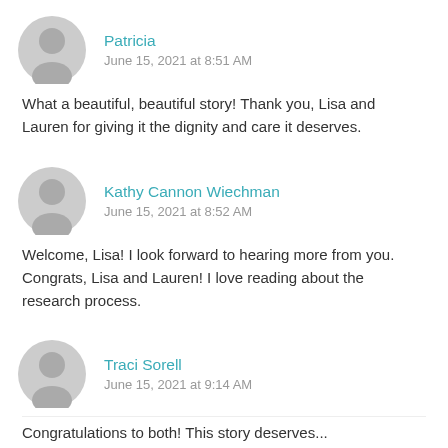Patricia
June 15, 2021 at 8:51 AM
What a beautiful, beautiful story! Thank you, Lisa and Lauren for giving it the dignity and care it deserves.
Kathy Cannon Wiechman
June 15, 2021 at 8:52 AM
Welcome, Lisa! I look forward to hearing more from you. Congrats, Lisa and Lauren! I love reading about the research process.
Traci Sorell
June 15, 2021 at 9:14 AM